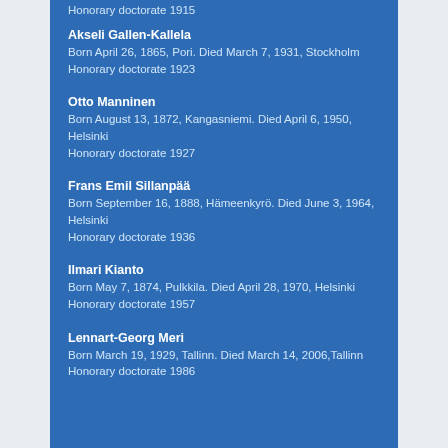Honorary doctorate 1915
Akseli Gallen-Kallela
Born April 26, 1865, Pori. Died March 7, 1931, Stockholm
Honorary doctorate 1923
Otto Manninen
Born August 13, 1872, Kangasniemi. Died April 6, 1950, Helsinki
Honorary doctorate 1927
Frans Emil Sillanpää
Born September 16, 1888, Hämeenkyrö. Died June 3, 1964, Helsinki
Honorary doctorate 1936
Ilmari Kianto
Born May 7, 1874, Pulkkila. Died April 28, 1970, Helsinki
Honorary doctorate 1957
Lennart-Georg Meri
Born March 19, 1929, Tallinn. Died March 14, 2006, Tallinn
Honorary doctorate 1986